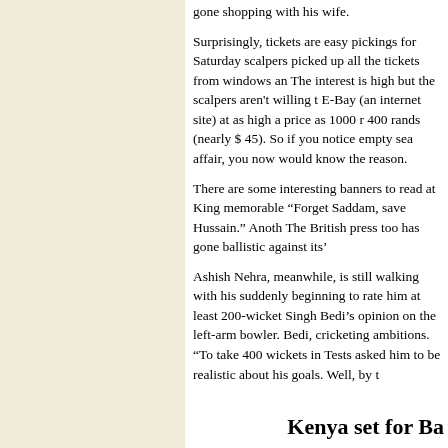gone shopping with his wife.
Surprisingly, tickets are easy pickings for Saturday scalpers picked up all the tickets from windows and The interest is high but the scalpers aren't willing t E-Bay (an internet site) at as high a price as 1000 r 400 rands (nearly $ 45). So if you notice empty sea affair, you now would know the reason.
There are some interesting banners to read at King memorable “Forget Saddam, save Hussain.” Anoth The British press too has gone ballistic against its'
Ashish Nehra, meanwhile, is still walking with his suddenly beginning to rate him at least 200-wicket Singh Bedi’s opinion on the left-arm bowler. Bedi, cricketing ambitions. “To take 400 wickets in Tests asked him to be realistic about his goals. Well, by t
Kenya set for Ba
Johannesburg, February 28
Before the World Cup began, most experts would h Bangladesh and Kenya here at the Wanderers was a